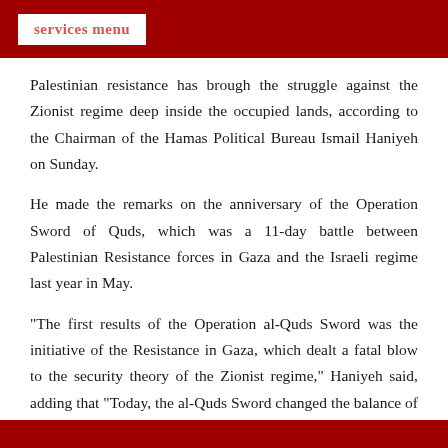services menu
Palestinian resistance has brough the struggle against the Zionist regime deep inside the occupied lands, according to the Chairman of the Hamas Political Bureau Ismail Haniyeh on Sunday.
He made the remarks on the anniversary of the Operation Sword of Quds, which was a 11-day battle between Palestinian Resistance forces in Gaza and the Israeli regime last year in May.
"The first results of the Operation al-Quds Sword was the initiative of the Resistance in Gaza, which dealt a fatal blow to the security theory of the Zionist regime," Haniyeh said, adding that "Today, the al-Quds Sword changed the balance of power in favor of the resistance."
The Hamas leader also said, "By no means, will we allow the